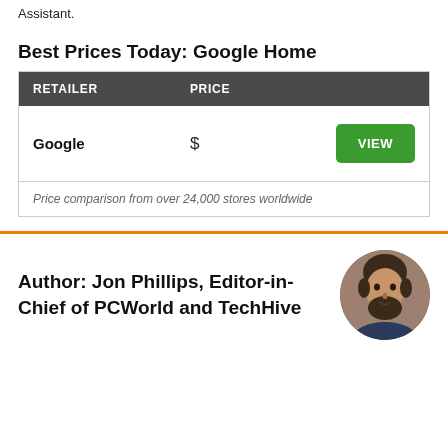Assistant.
Best Prices Today: Google Home
| RETAILER | PRICE |
| --- | --- |
| Google | $ |
| Price comparison from over 24,000 stores worldwide |  |
Author: Jon Phillips, Editor-in-Chief of PCWorld and TechHive
[Figure (photo): Circular headshot of Jon Phillips, a bearded man]